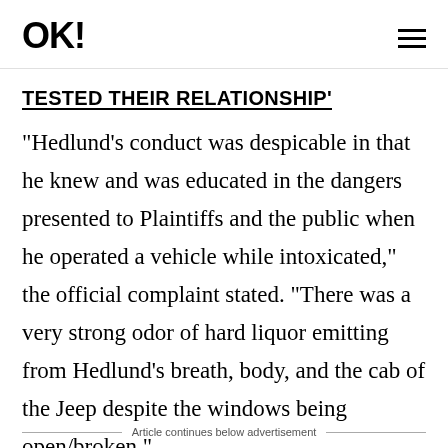OK!
TESTED THEIR RELATIONSHIP'
"Hedlund's conduct was despicable in that he knew and was educated in the dangers presented to Plaintiffs and the public when he operated a vehicle while intoxicated," the official complaint stated. "There was a very strong odor of hard liquor emitting from Hedlund's breath, body, and the cab of the Jeep despite the windows being open/broken."
Article continues below advertisement